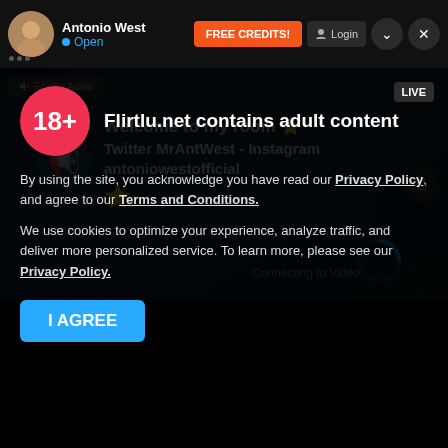Antonio West • Open | FREE CREDITS! | Login
[Figure (screenshot): Video chat room interface showing a dark teal background with a megaphone icon bubble containing the message: Welcome to my room ⭐ Twitter MrAntWest - Instagram antoniowestofficial ⭐, with 'Connecting to Video' text and a loading arc. Enable Audio button visible top left.]
Welcome to my room ⭐
Twitter MrAntWest - Instagram antoniowestofficial
Connecting to Video
Flirtlu.net contains adult content
By using the site, you acknowledge you have read our Privacy Policy, and agree to our Terms and Conditions.
We use cookies to optimize your experience, analyze traffic, and deliver more personalized service. To learn more, please see our Privacy Policy.
I AGREE